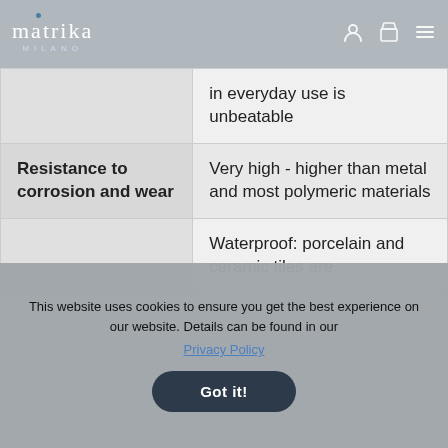matrika MILANO
|  | in everyday use is unbeatable |
| Resistance to corrosion and wear | Very high - higher than metal and most polymeric materials |
|  | Waterproof: porcelain and ceramic tiles are |
This website uses cookies to ensure you get the best experience on our website. Details can be found in our Privacy Policy
Got it!